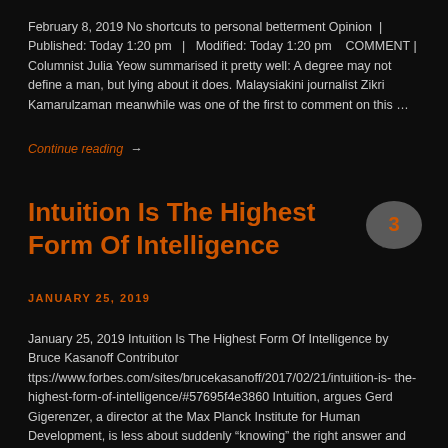February 8, 2019 No shortcuts to personal betterment Opinion | Published: Today 1:20 pm  |  Modified: Today 1:20 pm   COMMENT | Columnist Julia Yeow summarised it pretty well: A degree may not define a man, but lying about it does. Malaysiakini journalist Zikri Kamarulzaman meanwhile was one of the first to comment on this …
Continue reading →
Intuition Is The Highest Form Of Intelligence
[Figure (other): Comment bubble with number 3]
JANUARY 25, 2019
January 25, 2019 Intuition Is The Highest Form Of Intelligence by Bruce Kasanoff Contributor ttps://www.forbes.com/sites/brucekasanoff/2017/02/21/intuition-is-the-highest-form-of-intelligence/#57695f4e3860 Intuition, argues Gerd Gigerenzer, a director at the Max Planck Institute for Human Development, is less about suddenly "knowing" the right answer and more about instinctively understanding what information is unimportant and can thus be discarded. Gigerenzer, author of the book